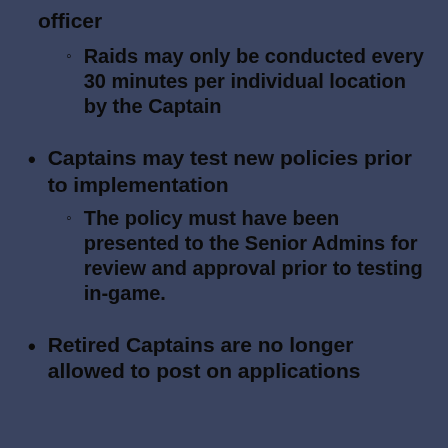officer
Raids may only be conducted every 30 minutes per individual location by the Captain
Captains may test new policies prior to implementation
The policy must have been presented to the Senior Admins for review and approval prior to testing in-game.
Retired Captains are no longer allowed to post on applications
To improve understanding and transparency within the community, these abilities are now written